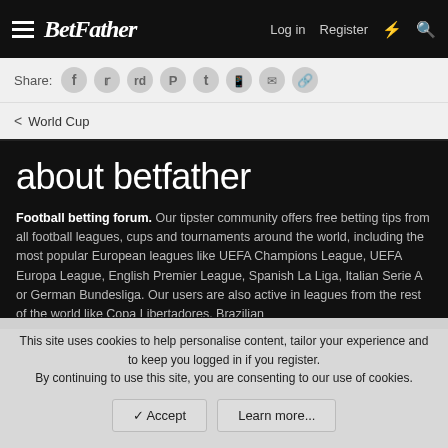Betfather — Log in   Register
Share:
< World Cup
about betfather
Football betting forum. Our tipster community offers free betting tips from all football leagues, cups and tournaments around the world, including the most popular European leagues like UEFA Champions League, UEFA Europa League, English Premier League, Spanish La Liga, Italian Serie A or German Bundesliga. Our users are also active in leagues from the rest of the world like Copa Libertadores, Brazilian
This site uses cookies to help personalise content, tailor your experience and to keep you logged in if you register.
By continuing to use this site, you are consenting to our use of cookies.